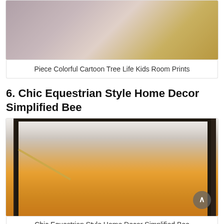[Figure (photo): Bedroom interior photo showing a pink/neutral bedroom with nightstands and decorative gold items on a glass table]
Piece Colorful Cartoon Tree Life Kids Room Prints
6. Chic Equestrian Style Home Decor Simplified Bee
[Figure (photo): Bedroom with black four-poster bed frame, orange patterned bedding, framed black-and-white horse photograph on wall, white curtains, and a scroll-to-top button in bottom right corner]
Chic Equestrian Style Home Decor Simplified Bee